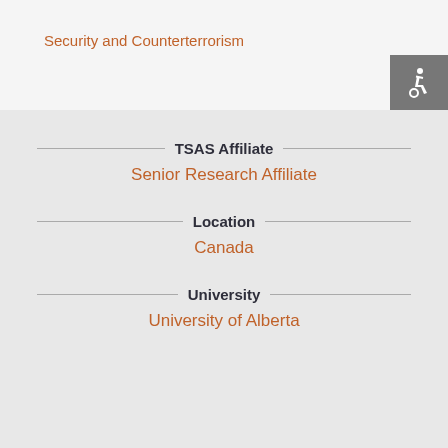Security and Counterterrorism
[Figure (illustration): Accessibility icon (wheelchair symbol) on grey square background, positioned top-right]
TSAS Affiliate
Senior Research Affiliate
Location
Canada
University
University of Alberta